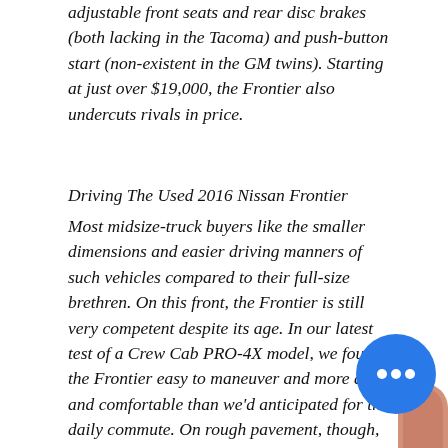adjustable front seats and rear disc brakes (both lacking in the Tacoma) and push-button start (non-existent in the GM twins). Starting at just over $19,000, the Frontier also undercuts rivals in price.
Driving The Used 2016 Nissan Frontier
Most midsize-truck buyers like the smaller dimensions and easier driving manners of such vehicles compared to their full-size brethren. On this front, the Frontier is still very competent despite its age. In our latest test of a Crew Cab PRO-4X model, we found the Frontier easy to maneuver and more agile and comfortable than we'd anticipated for the daily commute. On rough pavement, though, Nissan's midsize truck felt notably harshе. We were also still impressed with the power from the V6 engine, but not the resulting fuel economy. We averaged 15 mpg around town, which is outmatched by full-size trucks these days. The interior is comfortable, and the dash layout is clean and simple, though dated. At
[Figure (other): Blue circular chat bubble icon with three white dots, and a partial thumb/finger visible at bottom right corner]